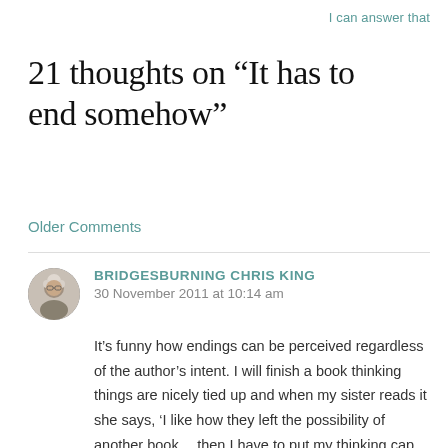I can answer that
21 thoughts on “It has to end somehow”
Older Comments
BRIDGESBURNING CHRIS KING
30 November 2011 at 10:14 am

It’s funny how endings can be perceived regardless of the author’s intent. I will finish a book thinking things are nicely tied up and when my sister reads it she says, ‘I like how they left the possibility of another book… then I have to put my thinking cap on and sure enough…..